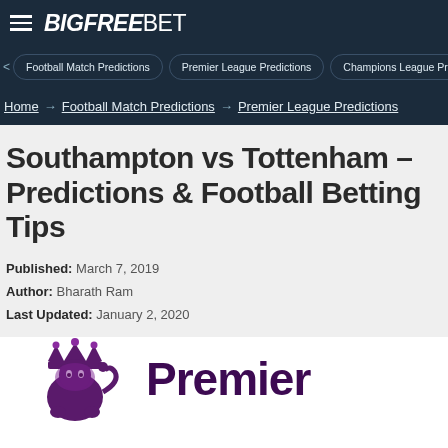BIGFREEBET
Football Match Predictions | Premier League Predictions | Champions League Predictions
Home → Football Match Predictions → Premier League Predictions
Southampton vs Tottenham – Predictions & Football Betting Tips
Published: March 7, 2019
Author: Bharath Ram
Last Updated: January 2, 2020
[Figure (logo): Premier League lion logo and Premier League text wordmark]